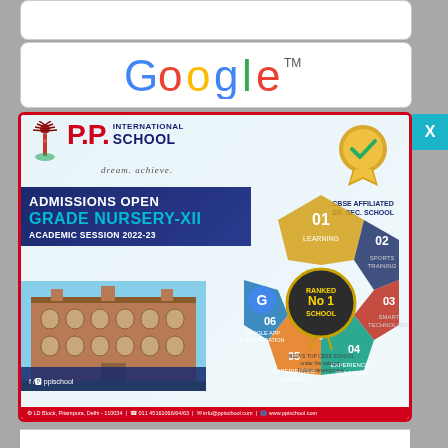[Figure (screenshot): Google search bar interface with partial URL bar visible at top]
[Figure (logo): Google logo in multicolor letters with TM mark]
[Figure (illustration): P.P. International School advertisement popup with school logo, admissions open banner for Grade Nursery-XII Academic Session 2022-23, building photo, CBSE affiliated badge, ranked No.1 school badge, hexagonal infographic showing 6 features, and contact footer. Teal X close button in top right.]
P.P. INTERNATIONAL SCHOOL
dream. achieve.
ADMISSIONS OPEN
GRADE NURSERY-XII
ACADEMIC SESSION 2022-23
CBSE AFFILIATED SR. SEC. SCHOOL
RANKED No.1 SCHOOL
INDIA'S TOP CBSE SCHOOL under the category 'holistic development'
f / ppischool
LD Block, Pitampura, Delhi - 110034 | 011 45161066/64/63 | info@ppischool.com | www.ppischool.com